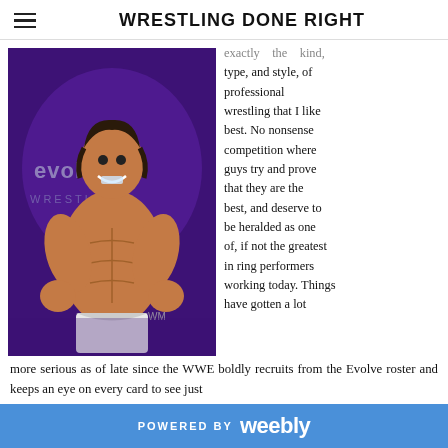WRESTLING DONE RIGHT
[Figure (illustration): Comic-style illustration of a muscular male wrestler in white trunks posing with fists up, smiling, against a purple background with the Evolve Wrestling logo]
exactly the kind, type, and style, of professional wrestling that I like best. No nonsense competition where guys try and prove that they are the best, and deserve to be heralded as one of, if not the greatest in ring performers working today. Things have gotten a lot more serious as of late since the WWE boldly recruits from the Evolve roster and keeps an eye on every card to see just
POWERED BY weebly